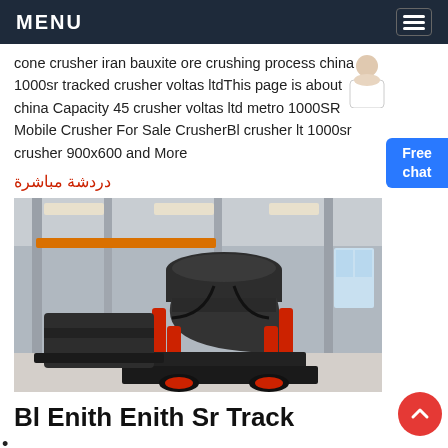MENU
cone crusher iran bauxite ore crushing process china 1000sr tracked crusher voltas ltdThis page is about china Capacity 45 crusher voltas ltd metro 1000SR Mobile Crusher For Sale CrusherBl crusher lt 1000sr crusher 900x600 and More
دردشة مباشرة
[Figure (photo): Industrial cone crusher machine displayed in a factory/warehouse setting. The machine is large, dark grey and black with red hydraulic cylinders, mounted on a black steel frame. Background shows factory structure with columns and lighting.]
Bl Enith Enith Sr Track